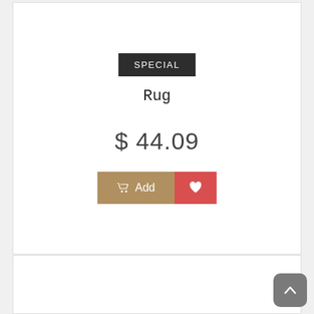SPECIAL
Rug
$ 44.09
Add
[Figure (illustration): Partial second product card visible at bottom of page]
[Figure (illustration): Back to top button with upward chevron arrow, grey rounded rectangle]